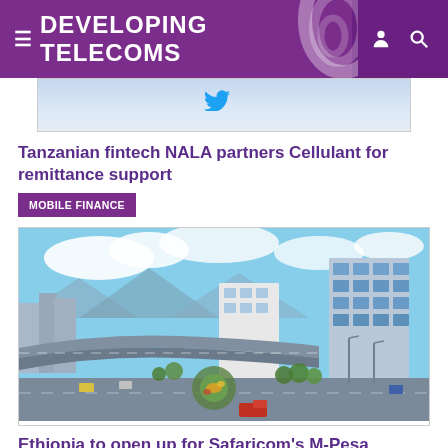DEVELOPING TELECOMS
[Figure (photo): Partial top image, light blue/grey tones, partially cropped]
Tanzanian fintech NALA partners Cellulant for remittance support
MOBILE FINANCE
[Figure (photo): Aerial view of an African city (likely Addis Ababa), with a highway flyover, roundabout, green landscaping, and a modern glass office building]
Ethiopia to open up for Safaricom's M-Pesa